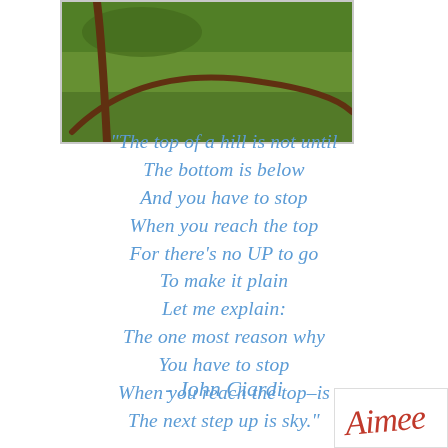[Figure (photo): Photograph of a green hillside with a curved dark tree branch or fence line arching across the grassy slope]
"The top of a hill is not until
The bottom is below
And you have to stop
When you reach the top
For there's no UP to go
To make it plain
Let me explain:
The one most reason why
You have to stop
When you reach the top–is
The next step up is sky."
- John Ciardi
[Figure (photo): Signature or logo in cursive red script reading 'Aimee']